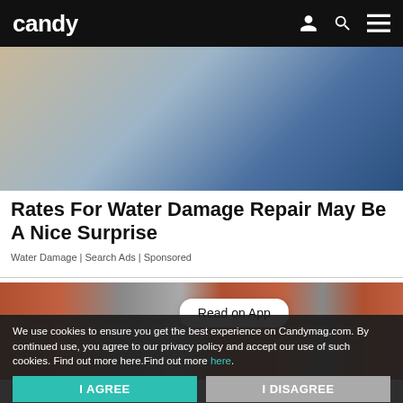candy
[Figure (photo): A man wearing glasses and a blue jacket doing water damage repair work on a wall]
Rates For Water Damage Repair May Be A Nice Surprise
Water Damage | Search Ads | Sponsored
[Figure (photo): A brick building exterior with windows, overlaid with a Read on App button]
We use cookies to ensure you get the best experience on Candymag.com. By continued use, you agree to our privacy policy and accept our use of such cookies. Find out more here.Find out more here.